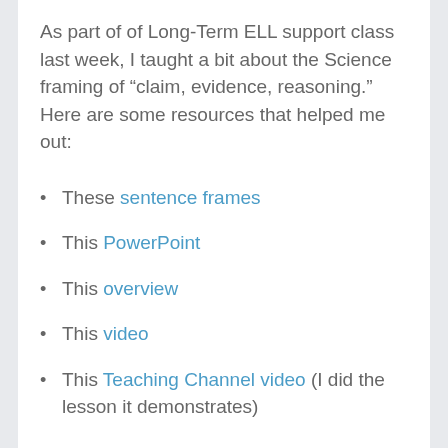As part of of Long-Term ELL support class last week, I taught a bit about the Science framing of “claim, evidence, reasoning.” Here are some resources that helped me out:
These sentence frames
This PowerPoint
This overview
This video
This Teaching Channel video (I did the lesson it demonstrates)